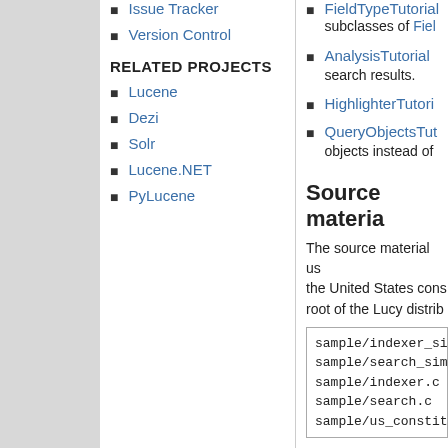Issue Tracker
Version Control
RELATED PROJECTS
Lucene
Dezi
Solr
Lucene.NET
PyLucene
FieldTypeTutorial subclasses of Fiel
AnalysisTutorial search results.
HighlighterTutori
QueryObjectsTut objects instead of
Source materia
The source material us the United States cons root of the Lucy distrib
sample/indexer_simpl
sample/search_simple
sample/indexer.c
sample/search.c
sample/us_constitut